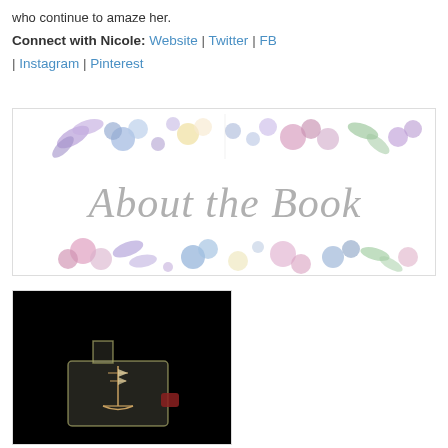who continue to amaze her.
Connect with Nicole: Website | Twitter | FB | Instagram | Pinterest
[Figure (illustration): Decorative 'About the Book' header image with watercolor floral bands (purple, pink, blue flowers) above and below cursive script reading 'About the Book' in gray.]
[Figure (photo): Photo of a ship in a bottle against a black background, with a small red item beside it.]